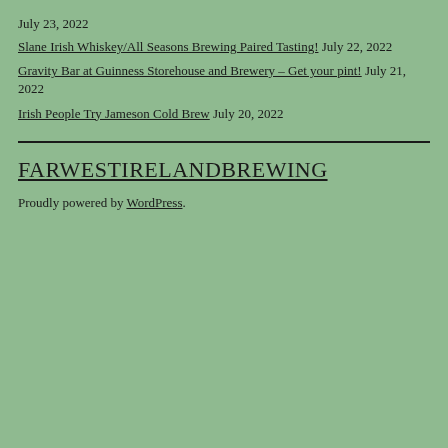July 23, 2022
Slane Irish Whiskey/All Seasons Brewing Paired Tasting! July 22, 2022
Gravity Bar at Guinness Storehouse and Brewery – Get your pint! July 21, 2022
Irish People Try Jameson Cold Brew July 20, 2022
FARWESTIRELANDBREWING
Proudly powered by WordPress.